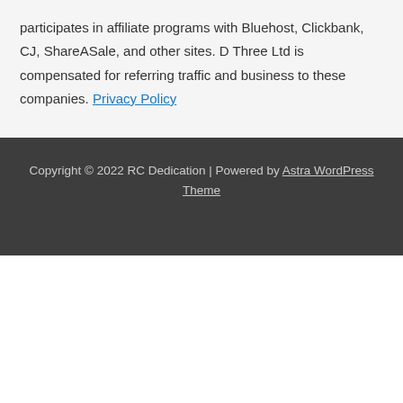participates in affiliate programs with Bluehost, Clickbank, CJ, ShareASale, and other sites. D Three Ltd is compensated for referring traffic and business to these companies. Privacy Policy
Copyright © 2022 RC Dedication | Powered by Astra WordPress Theme